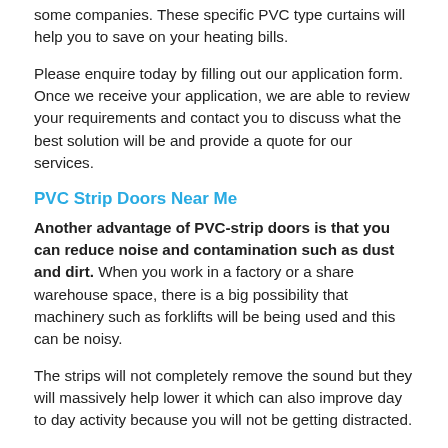some companies. These specific PVC type curtains will help you to save on your heating bills.
Please enquire today by filling out our application form. Once we receive your application, we are able to review your requirements and contact you to discuss what the best solution will be and provide a quote for our services.
PVC Strip Doors Near Me
Another advantage of PVC-strip doors is that you can reduce noise and contamination such as dust and dirt. When you work in a factory or a share warehouse space, there is a big possibility that machinery such as forklifts will be being used and this can be noisy.
The strips will not completely remove the sound but they will massively help lower it which can also improve day to day activity because you will not be getting distracted.
Industrial Curtains Nearby
Having an industrial curtain in a large space means that you are